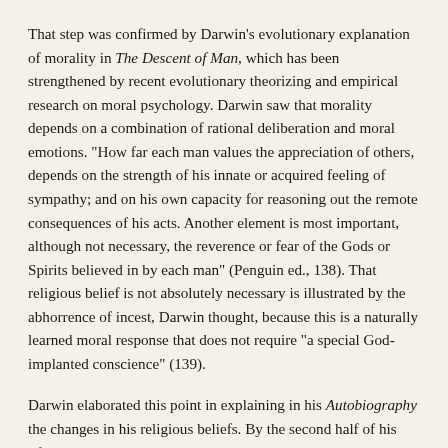That step was confirmed by Darwin's evolutionary explanation of morality in The Descent of Man, which has been strengthened by recent evolutionary theorizing and empirical research on moral psychology. Darwin saw that morality depends on a combination of rational deliberation and moral emotions. "How far each man values the appreciation of others, depends on the strength of his innate or acquired feeling of sympathy; and on his own capacity for reasoning out the remote consequences of his acts. Another element is most important, although not necessary, the reverence or fear of the Gods or Spirits believed in by each man" (Penguin ed., 138). That religious belief is not absolutely necessary is illustrated by the abhorrence of incest, Darwin thought, because this is a naturally learned moral response that does not require "a special God-implanted conscience" (139).
Darwin elaborated this point in explaining in his Autobiography the changes in his religious beliefs. By the second half of his life, his "skepticism or rationalism" led him to see how morality could be sustained as a natural disposition even without religious belief in eternal rewards and punishments. He wrote: